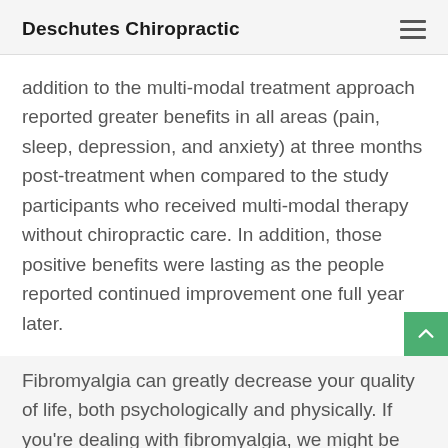Deschutes Chiropractic
addition to the multi-modal treatment approach reported greater benefits in all areas (pain, sleep, depression, and anxiety) at three months post-treatment when compared to the study participants who received multi-modal therapy without chiropractic care. In addition, those positive benefits were lasting as the people reported continued improvement one full year later.
Fibromyalgia can greatly decrease your quality of life, both psychologically and physically. If you're dealing with fibromyalgia, we might be able to help.